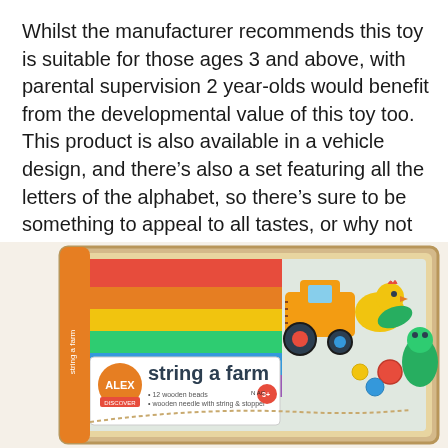Whilst the manufacturer recommends this toy is suitable for those ages 3 and above, with parental supervision 2 year-olds would benefit from the developmental value of this toy too. This product is also available in a vehicle design, and there's also a set featuring all the letters of the alphabet, so there's sure to be something to appeal to all tastes, or why not collect them all!
[Figure (photo): Photo of an ALEX brand 'string a farm' wooden bead toy product box, showing colorful farm animal wooden beads and a tractor, packaged in a light wood-framed box with colorful rainbow stripes on the packaging.]